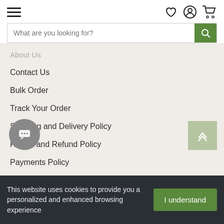Navigation header with hamburger menu, heart, account, cart icons, and search bar
About Us (truncated)
Contact Us
Bulk Order
Track Your Order
Shipping and Delivery Policy
Return and Refund Policy
Payments Policy
Covid19 Policy
Privacy Policy
Terms and Conditions
This website uses cookies to provide you a personalized and enhanced browsing experience
I understand